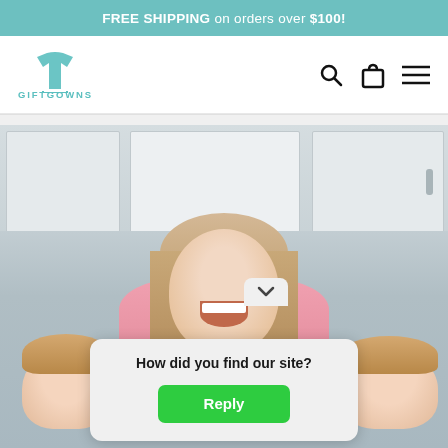FREE SHIPPING on orders over $100!
[Figure (logo): GiftGowns logo with t-shirt icon in teal and GIFTGOWNS text]
[Figure (photo): A laughing woman with blonde hair wearing a pink top in a kitchen, holding two young children, one on each side]
How did you find our site?
Reply